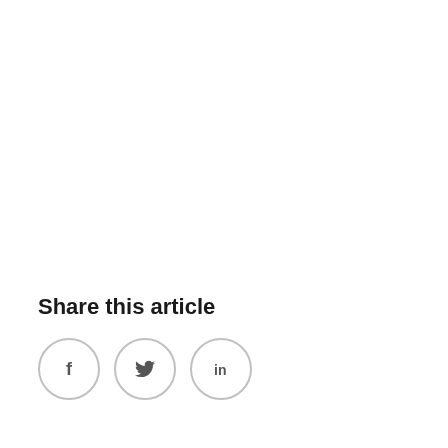Share this article
[Figure (illustration): Three circular social media share buttons: Facebook (f), Twitter (bird icon), LinkedIn (in)]